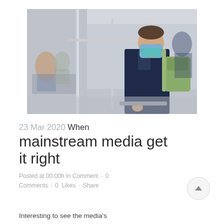[Figure (photo): Man in a dark suit wearing a blue face mask and carrying a green backpack standing in a subway/metro car, with other passengers seated and standing in the background.]
23 Mar 2020 When mainstream media get it right
Posted at 00:00h in Comment · 0 Comments · 0 Likes · Share
Interesting to see the media's